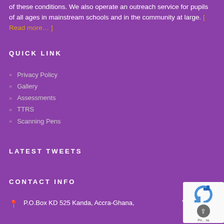of these conditions. We also operate an outreach service for pupils of all ages in mainstream schools and in the community at large. [ Read more… ]
QUICK LINK
Privacy Policy
Gallery
Assessments
TTRS
Scanning Pens
LATEST TWEETS
CONTACT INFO
P.O.Box KD 525 Kanda, Accra-Ghana,    West Africa